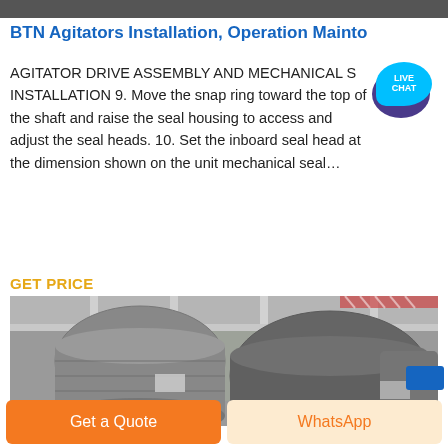[Figure (photo): Top dark banner image strip]
BTN Agitators Installation, Operation Mainto
AGITATOR DRIVE ASSEMBLY AND MECHANICAL S INSTALLATION 9. Move the snap ring toward the top of the shaft and raise the seal housing to access and adjust the seal heads. 10. Set the inboard seal head at the dimension shown on the unit mechanical seal...
GET PRICE
[Figure (photo): Industrial photo showing large cylindrical metal tanks/agitators in a factory/warehouse setting with structural steel framework visible]
Get a Quote
WhatsApp